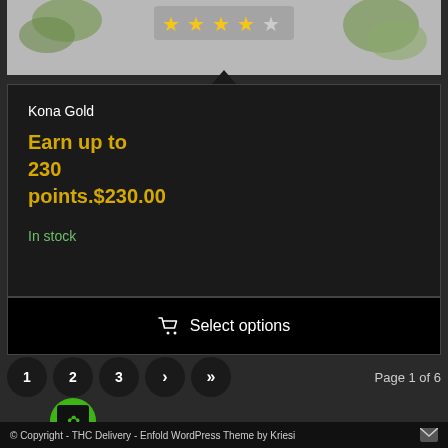[Figure (photo): Product image of cannabis flower (Kona Gold) with star rating overlay showing approximately 3.5 out of 5 stars on a gray background]
Kona Gold
Earn up to 230 points.$230.00
In stock
Select options
1
2
3
›
»
Page 1 of 6
[Figure (logo): THC Delivery green circular logo]
© Copyright - THC Delivery - Enfold WordPress Theme by Kriesi